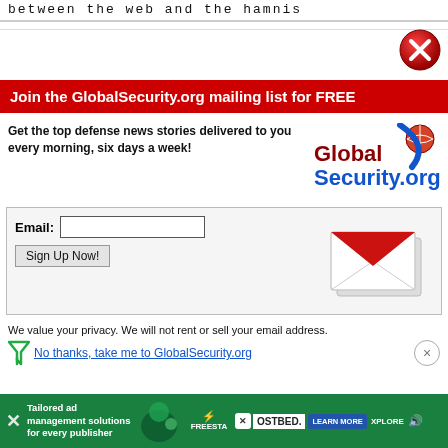between the web and the hamnis
[Figure (illustration): Red circle with white X close button in top right corner]
Join the GlobalSecurity.org mailing list for FREE
Get the top defense news stories delivered to you every morning, six days a week!
[Figure (logo): GlobalSecurity.org logo in dark red and blue]
[Figure (illustration): Red and white envelope email icon]
We value your privacy. We will not rent or sell your email address.
No thanks, take me to GlobalSecurity.org
[Figure (infographic): Bottom advertisement banner: Tailored ad management solutions for every publisher - FREESTAR - HOSTBED - LEARN MORE - EXPLORE]